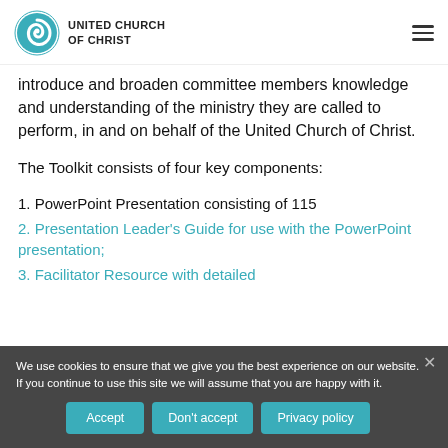UNITED CHURCH OF CHRIST
introduce and broaden committee members knowledge and understanding of the ministry they are called to perform, in and on behalf of the United Church of Christ.
The Toolkit consists of four key components:
1. PowerPoint Presentation consisting of 115
2. Presentation Leader's Guide for use with the PowerPoint presentation;
3. Facilitator Resource with detailed
We use cookies to ensure that we give you the best experience on our website. If you continue to use this site we will assume that you are happy with it.